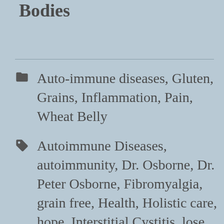Bodies
Auto-immune diseases, Gluten, Grains, Inflammation, Pain, Wheat Belly
Autoimmune Diseases, autoimmunity, Dr. Osborne, Dr. Peter Osborne, Fibromyalgia, grain free, Health, Holistic care, hope, Interstitial Cystitis, lose weight, Medicine, Naturopathy, Neuropathy, No Grain No Pain